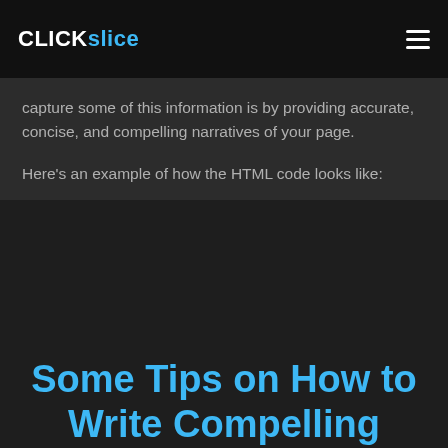CLICK slice
capture some of this information is by providing accurate, concise, and compelling narratives of your page.
Here's an example of how the HTML code looks like:
Some Tips on How to Write Compelling